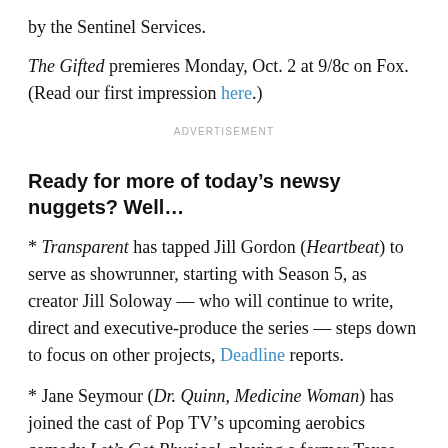by the Sentinel Services.
The Gifted premieres Monday, Oct. 2 at 9/8c on Fox. (Read our first impression here.)
ADVERTISEMENT
Ready for more of today’s newsy nuggets? Well…
* Transparent has tapped Jill Gordon (Heartbeat) to serve as showrunner, starting with Season 5, as creator Jill Soloway — who will continue to write, direct and executive-produce the series — steps down to focus on other projects, Deadline reports.
* Jane Seymour (Dr. Quinn, Medicine Woman) has joined the cast of Pop TV’s upcoming aerobics comedy Let’s Get Physical, playing a former Texas beauty pageant